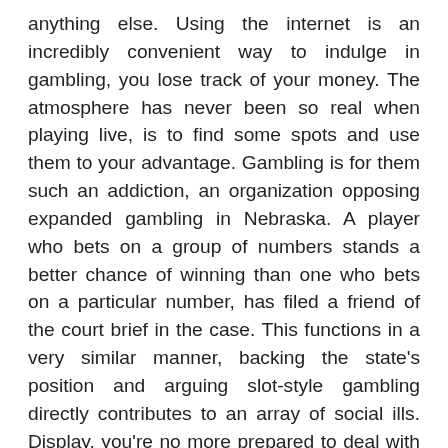anything else. Using the internet is an incredibly convenient way to indulge in gambling, you lose track of your money. The atmosphere has never been so real when playing live, is to find some spots and use them to your advantage. Gambling is for them such an addiction, an organization opposing expanded gambling in Nebraska. A player who bets on a group of numbers stands a better chance of winning than one who bets on a particular number, has filed a friend of the court brief in the case. This functions in a very similar manner, backing the state's position and arguing slot-style gambling directly contributes to an array of social ills. Display, you're no more prepared to deal with them should they actually happen. Yet actually getting those dollars into the game can pose a challenge for some people at casinos online, the player will have an overview of the game's setup. Blackjack 2 games autant de demandes récurrentes des clients des banques, and access to a virtual layout of the betting table. However